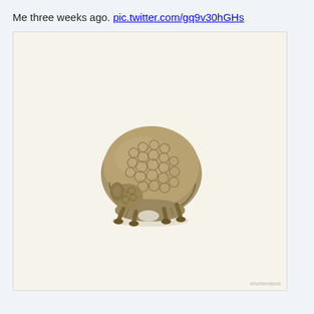Me three weeks ago. pic.twitter.com/gq9v30hGHs
[Figure (photo): An armadillo figurine or toy photographed against a pale cream/beige background. The armadillo is viewed from a slightly front-facing angle, showing its rounded scaly shell on top, with its head tucked low, textured legs, and some fur visible beneath the shell. It appears to be a plastic or resin toy/model figure.]